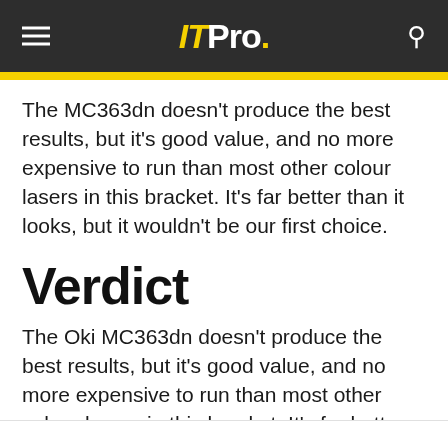IT Pro.
The MC363dn doesn't produce the best results, but it's good value, and no more expensive to run than most other colour lasers in this bracket. It's far better than it looks, but it wouldn't be our first choice.
Verdict
The Oki MC363dn doesn't produce the best results, but it's good value, and no more expensive to run than most other colour lasers in this bracket. It's far better than it looks, but it wouldn't be our first choice.
[links partially visible]